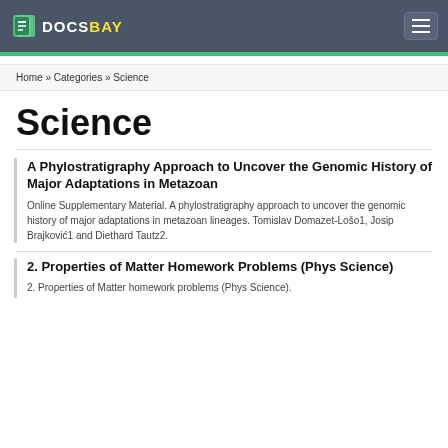DOCSBAY
Home » Categories » Science
Science
A Phylostratigraphy Approach to Uncover the Genomic History of Major Adaptations in Metazoan
Online Supplementary Material. A phylostratigraphy approach to uncover the genomic history of major adaptations in metazoan lineages. Tomislav Domazet-Lošo1, Josip Brajković1 and Diethard Tautz2.
2. Properties of Matter Homework Problems (Phys Science)
2. Properties of Matter homework problems (Phys Science).